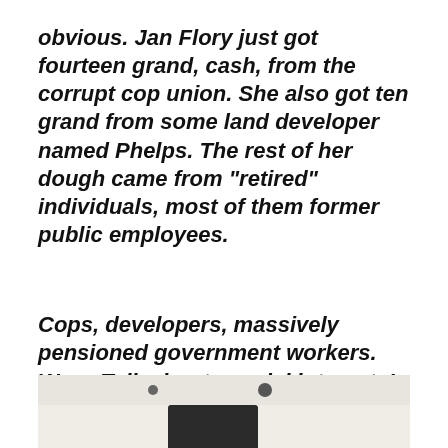obvious. Jan Flory just got fourteen grand, cash, from the corrupt cop union. She also got ten grand from some land developer named Phelps. The rest of her dough came from “retired” individuals, most of them former public employees.
Cops, developers, massively pensioned government workers. Wow. Talk about special interests!
– Sick of BooHoos
Good point, S.o.B. And then this:
[Figure (photo): Interior photo of a room with ceiling tiles, recessed lighting, and a dark-clothed figure visible at bottom center]